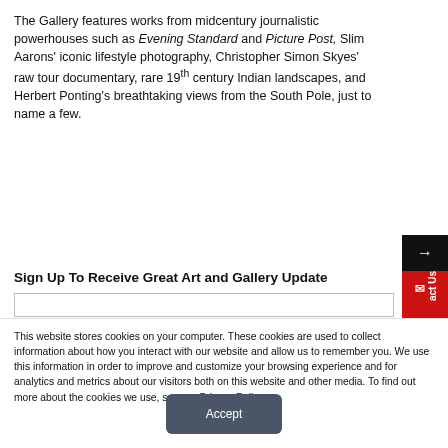The Gallery features works from midcentury journalistic powerhouses such as Evening Standard and Picture Post, Slim Aarons' iconic lifestyle photography, Christopher Simon Skyes' raw tour documentary, rare 19th century Indian landscapes, and Herbert Ponting's breathtaking views from the South Pole, just to name a few.
Sign Up To Receive Great Art and Gallery Update
This website stores cookies on your computer. These cookies are used to collect information about how you interact with our website and allow us to remember you. We use this information in order to improve and customize your browsing experience and for analytics and metrics about our visitors both on this website and other media. To find out more about the cookies we use, see our Privacy Policy.